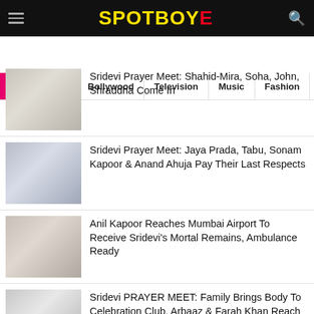SPOTBOYE
Bigg Boss 15 | Bollywood | Television | Music | Fashion
Sridevi Prayer Meet: Shahid-Mira, Soha, John, Shraddha Come In
Sridevi Prayer Meet: Jaya Prada, Tabu, Sonam Kapoor & Anand Ahuja Pay Their Last Respects
Anil Kapoor Reaches Mumbai Airport To Receive Sridevi's Mortal Remains, Ambulance Ready
Sridevi PRAYER MEET: Family Brings Body To Celebration Club, Arbaaz & Farah Khan Reach The Venue